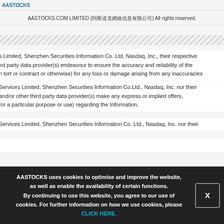AASTOCKS.COM LIMITED (阿斯達克網絡信息有限公司) All rights reserved.
s Limited, Shenzhen Securities Information Co. Ltd, Nasdaq, Inc., their respective ird party data provider(s) endeavour to ensure the accuracy and reliability of the n tort or contract or otherwise) for any loss or damage arising from any inaccuracies
Services Limited, Shenzhen Securities Information Co.Ltd., Nasdaq, Inc. nor their and/or other third party data provider(s) make any express or implied offers, for a particular purpose or use) regarding the Information.
Services Limited, Shenzhen Securities Information Co. Ltd., Nasdaq, Inc. nor their
AASTOCKS uses cookies to optimise and improve the website, as well as enable the availability of certain functions. By continuing to use this website, you agree to our use of cookies. For further information on how we use cookies, please CLICK HERE.